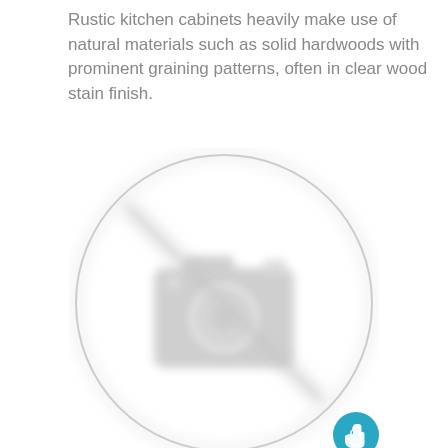Rustic kitchen cabinets heavily make use of natural materials such as solid hardwoods with prominent graining patterns, often in clear wood stain finish.
[Figure (photo): A blurred/placeholder image showing a generic camera icon inside a large circle, indicating a missing or unavailable photo. A small teal circular button with a pointer/hand cursor icon is overlaid in the bottom-right corner.]